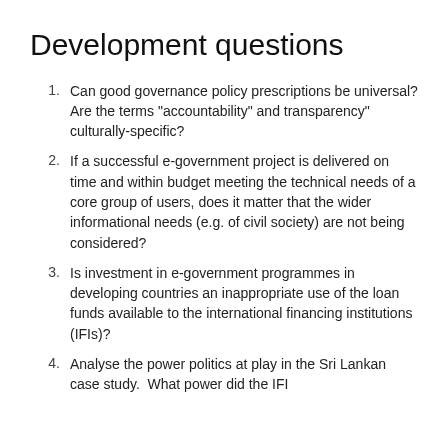Development questions
Can good governance policy prescriptions be universal? Are the terms "accountability" and transparency" culturally-specific?
If a successful e-government project is delivered on time and within budget meeting the technical needs of a core group of users, does it matter that the wider informational needs (e.g. of civil society) are not being considered?
Is investment in e-government programmes in developing countries an inappropriate use of the loan funds available to the international financing institutions (IFIs)?
Analyse the power politics at play in the Sri Lankan case study.  What power did the IFI